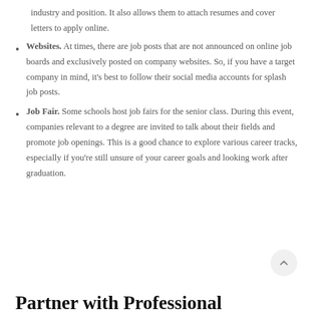industry and position. It also allows them to attach resumes and cover letters to apply online.
Websites. At times, there are job posts that are not announced on online job boards and exclusively posted on company websites. So, if you have a target company in mind, it's best to follow their social media accounts for splash job posts.
Job Fair. Some schools host job fairs for the senior class. During this event, companies relevant to a degree are invited to talk about their fields and promote job openings. This is a good chance to explore various career tracks, especially if you're still unsure of your career goals and looking work after graduation.
Partner with Professional